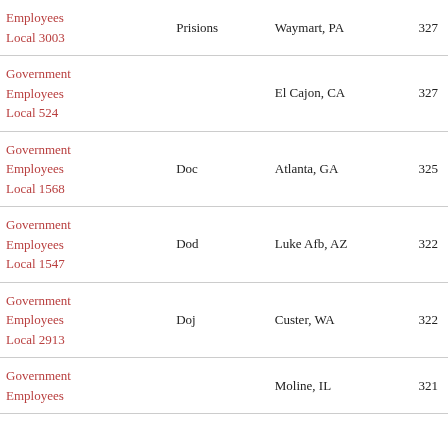| Union | Agency | Location | Members |
| --- | --- | --- | --- |
| Government Employees Local 3003 | Prisions | Waymart, PA | 327 |
| Government Employees Local 524 |  | El Cajon, CA | 327 |
| Government Employees Local 1568 | Doc | Atlanta, GA | 325 |
| Government Employees Local 1547 | Dod | Luke Afb, AZ | 322 |
| Government Employees Local 2913 | Doj | Custer, WA | 322 |
| Government Employees |  | Moline, IL | 321 |